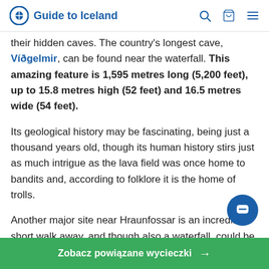Guide to Iceland
their hidden caves. The country's longest cave, Víðgelmir, can be found near the waterfall. This amazing feature is 1,595 metres long (5,200 feet), up to 15.8 metres high (52 feet) and 16.5 metres wide (54 feet).
Its geological history may be fascinating, being just a thousand years old, though its human history stirs just as much intrigue as the lava field was once home to bandits and, according to folklore it is the home of trolls.
Another major site near Hraunfossar is an incredibly short walk away, and though also a waterfall, could be more different. Barnafoss surges down a narrow,
Zobacz powiązane wycieczki →